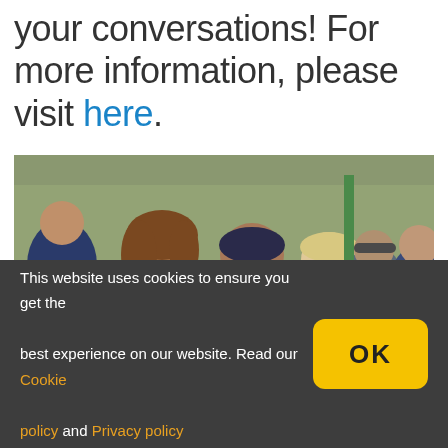your conversations! For more information, please visit here.
[Figure (photo): Group of people sitting outdoors in a park or wooded area, posing together for a photo. Several adults visible including a woman in a black t-shirt, a man in a black t-shirt and bandana, a woman with short blonde hair, and others in the background.]
This website uses cookies to ensure you get the best experience on our website. Read our Cookie policy and Privacy policy